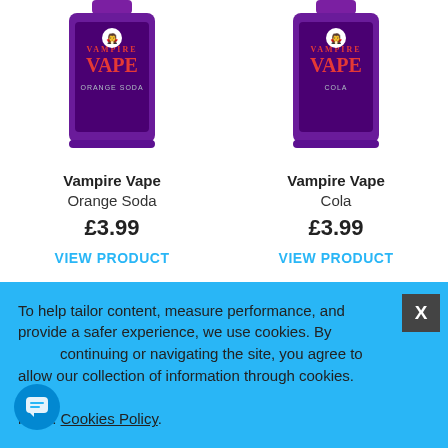[Figure (photo): Vampire Vape Orange Soda e-liquid bottle with purple label and purple cap]
Vampire Vape
Orange Soda
£3.99
VIEW PRODUCT
[Figure (photo): Vampire Vape Cola e-liquid bottle with purple label and purple cap]
Vampire Vape
Cola
£3.99
VIEW PRODUCT
Items 1 to 20 of 80 total
Page:
< 1 2 3 4 >
To help tailor content, measure performance, and provide a safer experience, we use cookies. By continuing or navigating the site, you agree to allow our collection of information through cookies. Learn more: Cookies Policy.